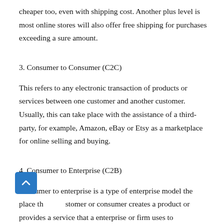cheaper too, even with shipping cost. Another plus level is most online stores will also offer free shipping for purchases exceeding a sure amount.
3. Consumer to Consumer (C2C)
This refers to any electronic transaction of products or services between one customer and another customer. Usually, this can take place with the assistance of a third-party, for example, Amazon, eBay or Etsy as a marketplace for online selling and buying.
4. Consumer to Enterprise (C2B)
Consumer to enterprise is a type of enterprise model the place the customer or consumer creates a product or provides a service that a enterprise or firm uses to complement its business